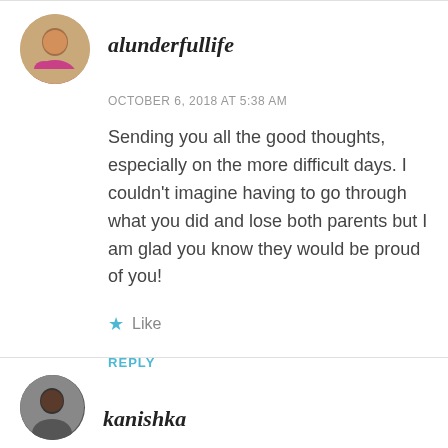alunderfullife
OCTOBER 6, 2018 AT 5:38 AM
Sending you all the good thoughts, especially on the more difficult days. I couldn’t imagine having to go through what you did and lose both parents but I am glad you know they would be proud of you!
★ Like
REPLY
kanishka